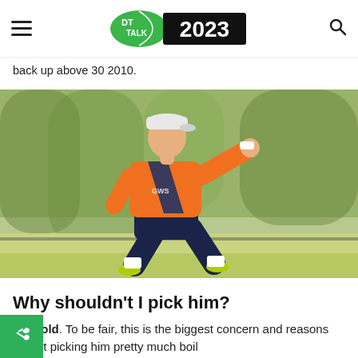DT TALK 2023
back up above 30 2010.
[Figure (photo): AFL player in orange GWS Giants jersey and navy shorts pointing while in a wide-stance athletic position on a training oval, wearing a white cap and white wristbands. Green trees in background.]
Why shouldn’t I pick him?
He’s old. To be fair, this is the biggest concern and reasons for not picking him pretty much boil